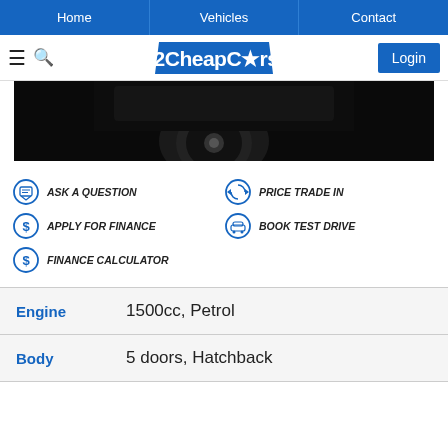Home | Vehicles | Contact
[Figure (logo): 2CheapCars logo with blue diagonal background and white text, plus Login button]
[Figure (photo): Dark car image showing wheel/tire area on black background]
ASK A QUESTION
PRICE TRADE IN
APPLY FOR FINANCE
BOOK TEST DRIVE
FINANCE CALCULATOR
| Label | Value |
| --- | --- |
| Engine | 1500cc, Petrol |
| Body | 5 doors, Hatchback |